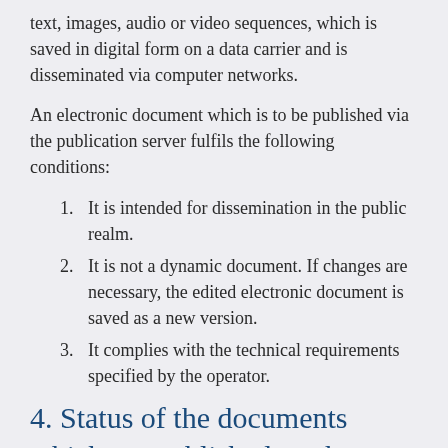text, images, audio or video sequences, which is saved in digital form on a data carrier and is disseminated via computer networks.
An electronic document which is to be published via the publication server fulfils the following conditions:
1. It is intended for dissemination in the public realm.
2. It is not a dynamic document. If changes are necessary, the edited electronic document is saved as a new version.
3. It complies with the technical requirements specified by the operator.
4. Status of the documents which are published on the